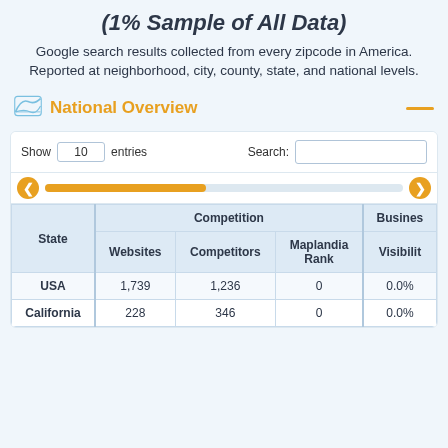(1% Sample of All Data)
Google search results collected from every zipcode in America. Reported at neighborhood, city, county, state, and national levels.
National Overview
| State | Competition: Websites | Competition: Competitors | Competition: Maplandia Rank | Business: Visibility |
| --- | --- | --- | --- | --- |
| USA | 1,739 | 1,236 | 0 | 0.0% |
| California | 228 | 346 | 0 | 0.0% |